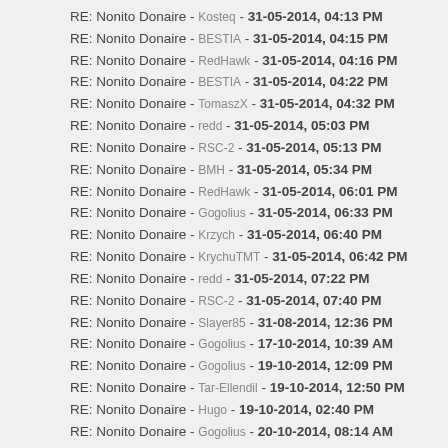RE: Nonito Donaire - Kosteq - 31-05-2014, 04:13 PM
RE: Nonito Donaire - BESTIA - 31-05-2014, 04:15 PM
RE: Nonito Donaire - RedHawk - 31-05-2014, 04:16 PM
RE: Nonito Donaire - BESTIA - 31-05-2014, 04:22 PM
RE: Nonito Donaire - TomaszX - 31-05-2014, 04:32 PM
RE: Nonito Donaire - redd - 31-05-2014, 05:03 PM
RE: Nonito Donaire - RSC-2 - 31-05-2014, 05:13 PM
RE: Nonito Donaire - BMH - 31-05-2014, 05:34 PM
RE: Nonito Donaire - RedHawk - 31-05-2014, 06:01 PM
RE: Nonito Donaire - Gogolius - 31-05-2014, 06:33 PM
RE: Nonito Donaire - Krzych - 31-05-2014, 06:40 PM
RE: Nonito Donaire - KrychuTMT - 31-05-2014, 06:42 PM
RE: Nonito Donaire - redd - 31-05-2014, 07:22 PM
RE: Nonito Donaire - RSC-2 - 31-05-2014, 07:40 PM
RE: Nonito Donaire - Slayer85 - 31-08-2014, 12:36 PM
RE: Nonito Donaire - Gogolius - 17-10-2014, 10:39 AM
RE: Nonito Donaire - Gogolius - 19-10-2014, 12:09 PM
RE: Nonito Donaire - Tar-Ellendil - 19-10-2014, 12:50 PM
RE: Nonito Donaire - Hugo - 19-10-2014, 02:40 PM
RE: Nonito Donaire - Gogolius - 20-10-2014, 08:14 AM
RE: Nonito Donaire - Gogolius - 21-10-2014, 12:54 PM
RE: Nonito Donaire - Gogolius - 07-01-2015, 11:16 AM
RE: Nonito Donaire - Wietnam - 07-01-2015, 05:02 PM
RE: Nonito Donaire - kubala1122331 - 07-01-2015, 06:44 PM
RE: Nonito Donaire - KrychuTMT - 07-01-2015, 08:05 PM